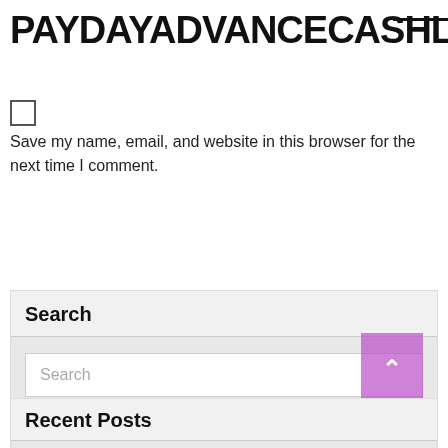PAYDAYADVANCECASHLOANS.C
[Figure (screenshot): Checkbox input element]
Save my name, email, and website in this browser for the next time I comment.
SUBMIT COMMENT
Search
Search
Recent Posts
Subject loans expert job opportunities, jobs throughout